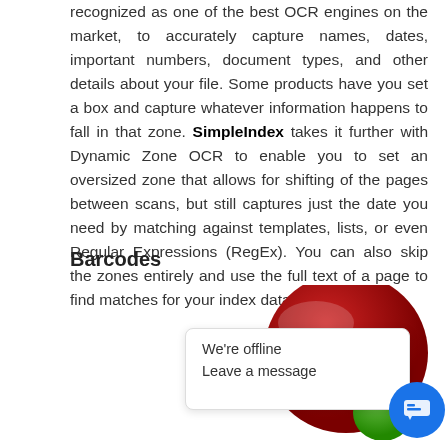recognized as one of the best OCR engines on the market, to accurately capture names, dates, important numbers, document types, and other details about your file. Some products have you set a box and capture whatever information happens to fall in that zone. SimpleIndex takes it further with Dynamic Zone OCR to enable you to set an oversized zone that allows for shifting of the pages between scans, but still captures just the date you need by matching against templates, lists, or even Regular Expressions (RegEx). You can also skip the zones entirely and use the full text of a page to find matches for your index data.
Barcodes
[Figure (logo): SimpleIndex logo - red circular badge with white S letter and green accent, partially visible at bottom right]
We're offline
Leave a message